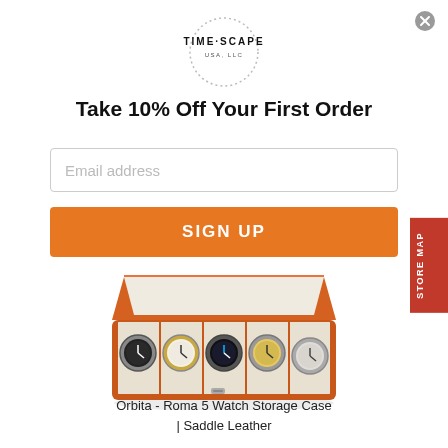[Figure (logo): TIME SCAPE USA LLC circular logo with dotted border]
Take 10% Off Your First Order
Email address (input placeholder)
SIGN UP
[Figure (photo): Orbita Roma 5 Watch Storage Case in Saddle Leather (orange leather box with 5 watches inside)]
Orbita - Roma 5 Watch Storage Case | Saddle Leather